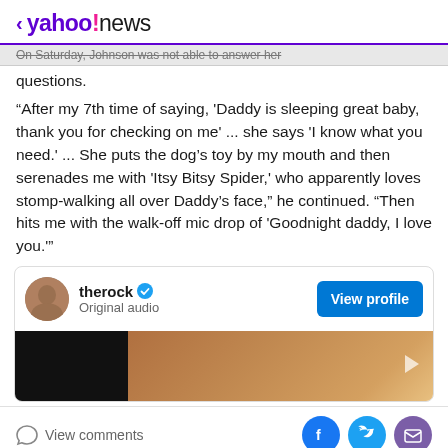< yahoo!news
questions.
“After my 7th time of saying, 'Daddy is sleeping great baby, thank you for checking on me' ... she says 'I know what you need.' ... She puts the dog’s toy by my mouth and then serenades me with 'Itsy Bitsy Spider,' who apparently loves stomp-walking all over Daddy’s face,” he continued. “Then hits me with the walk-off mic drop of 'Goodnight daddy, I love you.'”
[Figure (screenshot): Embedded social media card showing therock profile with verified badge, Original audio subtitle, View profile button, and a video thumbnail]
View comments